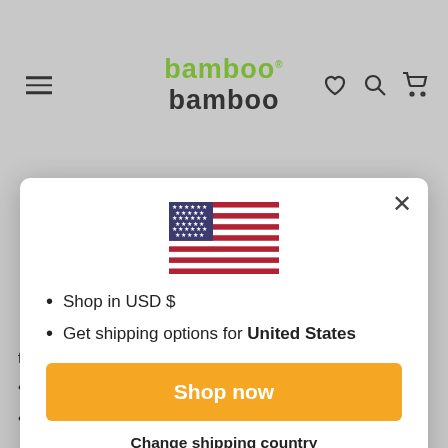[Figure (screenshot): Bamboo Bamboo e-commerce website header with logo, hamburger menu, heart, search, and cart icons on gray background]
[Figure (illustration): US Flag emoji/icon centered in modal dialog]
Shop in USD $
Get shipping options for United States
Shop now
Change shipping country
fingers of the same size.
Thoroughly wash 1 lime and grate the zest.
Finely chop the coriander and parsley and add them to a plate with the desiccated coconut, breadcrumbs